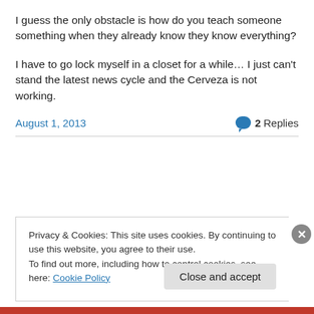I guess the only obstacle is how do you teach someone something when they already know they know everything?
I have to go lock myself in a closet for a while… I just can't stand the latest news cycle and the Cerveza is not working.
August 1, 2013
2 Replies
Privacy & Cookies: This site uses cookies. By continuing to use this website, you agree to their use.
To find out more, including how to control cookies, see here: Cookie Policy
Close and accept